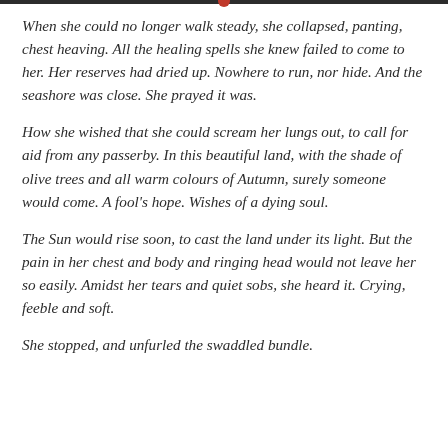When she could no longer walk steady, she collapsed, panting, chest heaving. All the healing spells she knew failed to come to her. Her reserves had dried up. Nowhere to run, nor hide. And the seashore was close. She prayed it was.
How she wished that she could scream her lungs out, to call for aid from any passerby. In this beautiful land, with the shade of olive trees and all warm colours of Autumn, surely someone would come. A fool's hope. Wishes of a dying soul.
The Sun would rise soon, to cast the land under its light. But the pain in her chest and body and ringing head would not leave her so easily. Amidst her tears and quiet sobs, she heard it. Crying, feeble and soft.
She stopped, and unfurled the swaddled bundle.